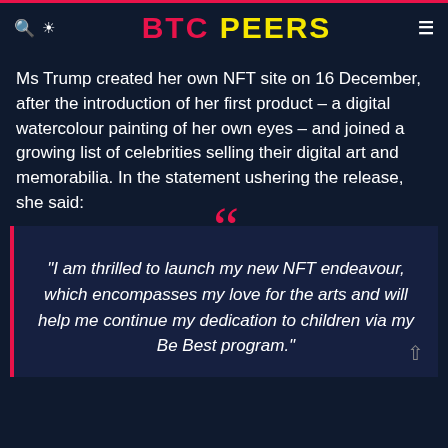BTC PEERS
Ms Trump created her own NFT site on 16 December, after the introduction of her first product – a digital watercolour painting of her own eyes – and joined a growing list of celebrities selling their digital art and memorabilia. In the statement ushering the release, she said:
"I am thrilled to launch my new NFT endeavour, which encompasses my love for the arts and will help me continue my dedication to children via my Be Best program."